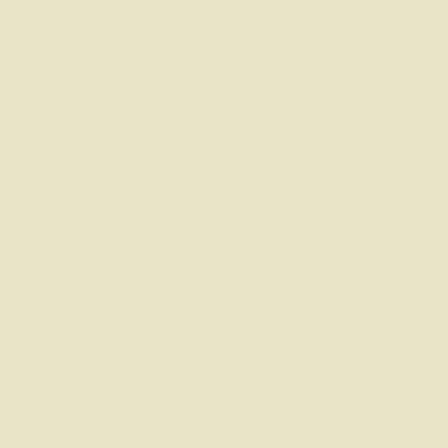It's the ALL COPS ARE RACIS...
Especially since not a single soli... a SINGLE SOLITARY fact that...
Get that??
There is not a SINGLE SOLITA... BS....
And yet, it still lives on...
The illogic and hysteria of the Tr...
[55] Michale wrote:
OK.. Let's get back Radical Hyst...
America's Liberals Have Beco...
Woke up and drink the Kool-A... https://www.washingtonexamine...-aid
As I said above before I went off...
America's liberals have ALWAY... gave this country the KKK...